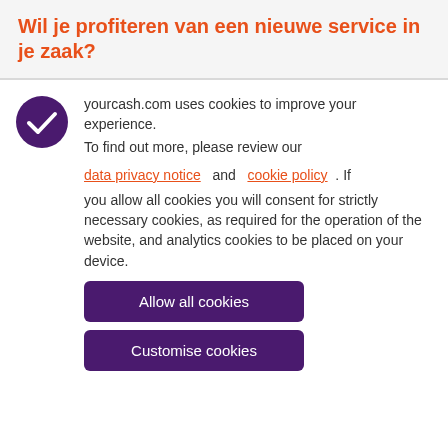Wil je profiteren van een nieuwe service in je zaak?
yourcash.com uses cookies to improve your experience.
To find out more, please review our
data privacy notice and cookie policy . If you allow all cookies you will consent for strictly necessary cookies, as required for the operation of the website, and analytics cookies to be placed on your device.
Allow all cookies
Customise cookies